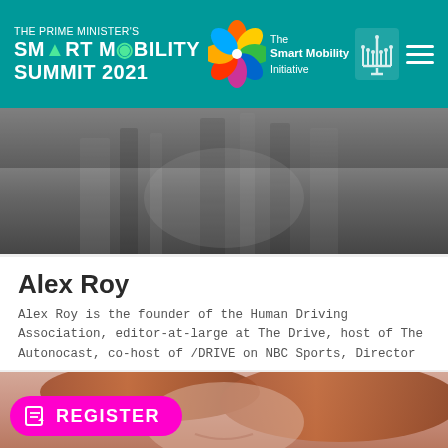THE PRIME MINISTER'S SMART MOBILITY SUMMIT 2021 — The Smart Mobility Initiative
[Figure (photo): Black and white photo of a person, upper body, fabric/striped clothing visible]
Alex Roy
Alex Roy is the founder of the Human Driving Association, editor-at-large at The Drive, host of The Autonocast, co-host of /DRIVE on NBC Sports, Director
READ MORE »
[Figure (photo): Color photo of a woman with red/auburn hair, smiling, cropped at chin level]
REGISTER